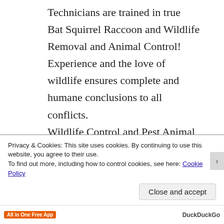Technicians are trained in true Bat Squirrel Raccoon and Wildlife Removal and Animal Control! Experience and the love of wildlife ensures complete and humane conclusions to all conflicts. Wildlife Control and Pest Animal Removal Experts! (Common Eastern Garter or
Privacy & Cookies: This site uses cookies. By continuing to use this website, you agree to their use.
To find out more, including how to control cookies, see here: Cookie Policy
Close and accept
All in One Free App   DuckDuckGo